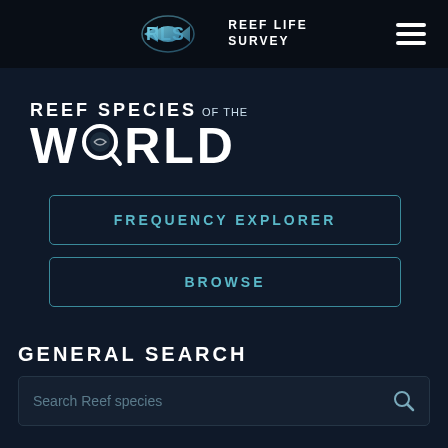RLS REEF LIFE SURVEY
[Figure (logo): Reef Life Survey RLS logo with fish icon and text]
REEF SPECIES of the WORLD
FREQUENCY EXPLORER
BROWSE
GENERAL SEARCH
Search Reef species